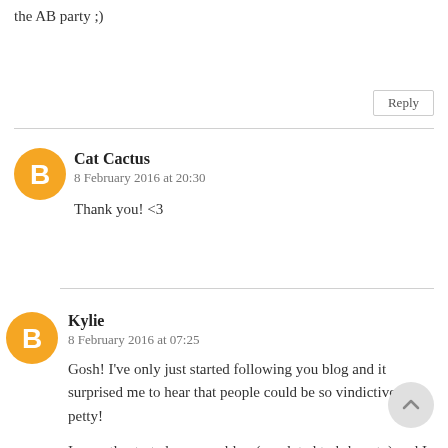the AB party ;)
Reply
Cat Cactus
8 February 2016 at 20:30
Thank you! <3
Kylie
8 February 2016 at 07:25
Gosh! I've only just started following you blog and it surprised me to hear that people could be so vindictive and petty!
I recently started my own blog (unrelated to k-beauty) and I was shocked by the amount of effort (and costs)